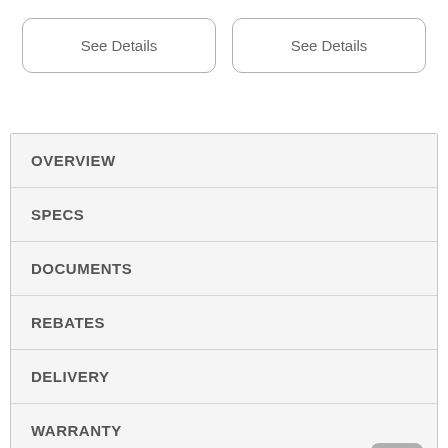See Details
See Details
OVERVIEW
SPECS
DOCUMENTS
REBATES
DELIVERY
WARRANTY
REVIEWS (276)